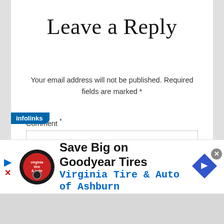Leave a Reply
Your email address will not be published. Required fields are marked *
Comment *
[Figure (screenshot): Empty comment text area input box with light gray border]
[Figure (infographic): Infolinks branded banner with ad for Virginia Tire & Auto of Ashburn: Save Big on Goodyear Tires]